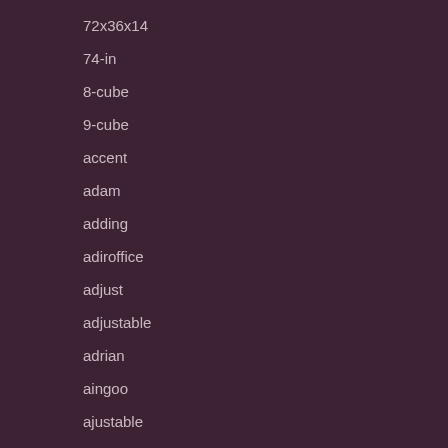72x36x14
74-in
8-cube
9-cube
accent
adam
adding
adiroffice
adjust
adjustable
adrian
aingoo
ajustable